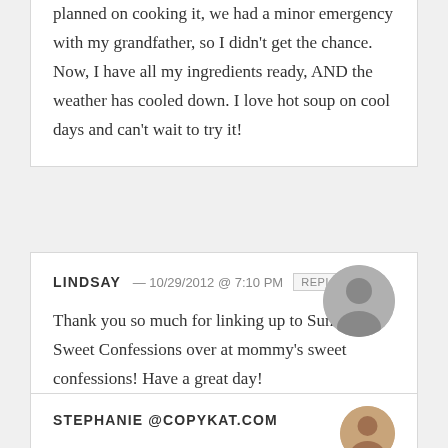planned on cooking it, we had a minor emergency with my grandfather, so I didn't get the chance. Now, I have all my ingredients ready, AND the weather has cooled down. I love hot soup on cool days and can't wait to try it!
LINDSAY — 10/29/2012 @ 7:10 PM REPLY
Thank you so much for linking up to Sunday's Sweet Confessions over at mommy's sweet confessions! Have a great day!
STEPHANIE @COPYKAT.COM